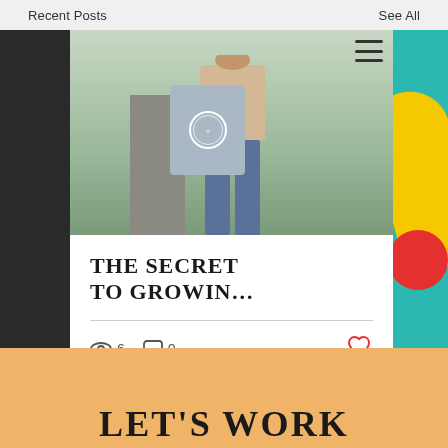Recent Posts    See All
[Figure (screenshot): Website screenshot showing a blog post card with a photo of a woman holding a shopping bag, titled 'THE SECRET TO GROWIN…', with view count 6 and comment count 0, and a heart/like icon. Below is an orange section with 'LET'S WORK' text. Navigation dots and a scroll-to-top button are visible.]